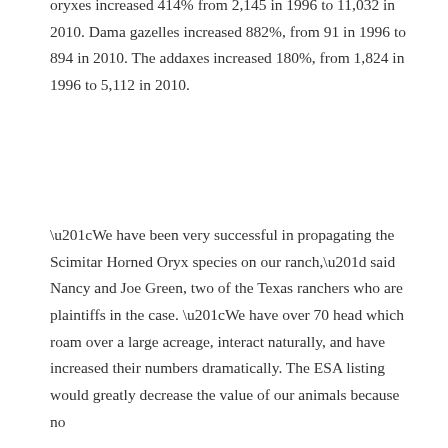oryxes increased 414% from 2,145 in 1996 to 11,032 in 2010. Dama gazelles increased 882%, from 91 in 1996 to 894 in 2010. The addaxes increased 180%, from 1,824 in 1996 to 5,112 in 2010.
“We have been very successful in propagating the Scimitar Horned Oryx species on our ranch,” said Nancy and Joe Green, two of the Texas ranchers who are plaintiffs in the case. “We have over 70 head which roam over a large acreage, interact naturally, and have increased their numbers dramatically. The ESA listing would greatly decrease the value of our animals because no